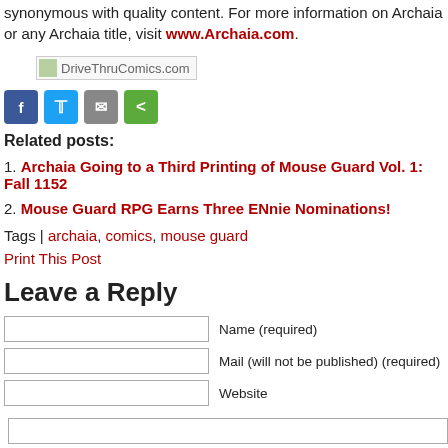synonymous with quality content. For more information on Archaia or any Archaia title, visit www.Archaia.com.
[Figure (logo): DriveThruComics.com logo/image placeholder]
[Figure (infographic): Social share buttons: Facebook, Twitter, Email, Share]
Related posts:
1. Archaia Going to a Third Printing of Mouse Guard Vol. 1: Fall 1152
2. Mouse Guard RPG Earns Three ENnie Nominations!
Tags | archaia, comics, mouse guard
Print This Post
Leave a Reply
Name (required)
Mail (will not be published) (required)
Website